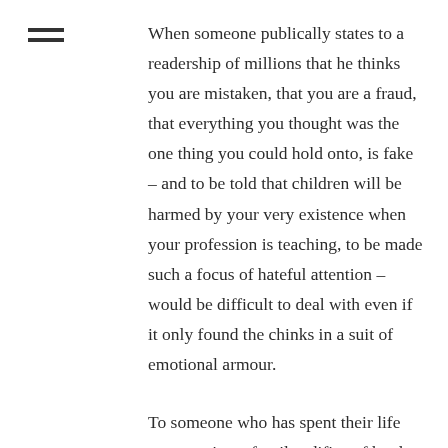[Figure (other): Hamburger menu icon with two horizontal lines]
When someone publically states to a readership of millions that he thinks you are mistaken, that you are a fraud, that everything you thought was the one thing you could hold onto, is fake – and to be told that children will be harmed by your very existence when your profession is teaching, to be made such a focus of hateful attention – would be difficult to deal with even if it only found the chinks in a suit of emotional armour.
To someone who has spent their life constructing a fragile edifice of hard-won truth... I know I couldn't have coped, if I was lucky I'd have got myself hospitalised before I could take an overdose or throw myself off a